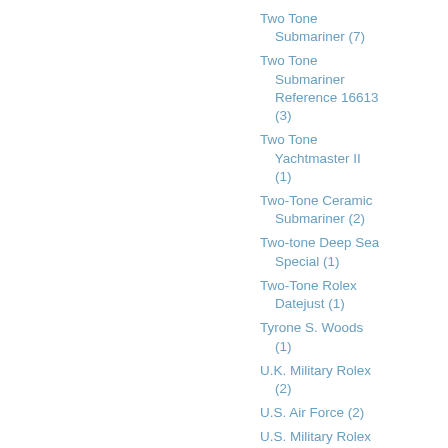Two Tone Submariner (7)
Two Tone Submariner Reference 16613 (3)
Two Tone Yachtmaster II (1)
Two-Tone Ceramic Submariner (2)
Two-tone Deep Sea Special (1)
Two-Tone Rolex Datejust (1)
Tyrone S. Woods (1)
U.K. Military Rolex (2)
U.S. Air Force (2)
U.S. Military Rolex